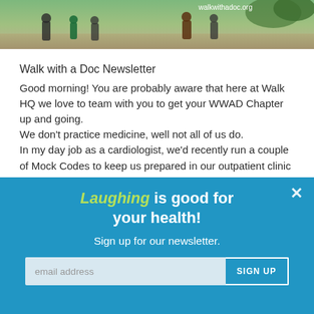[Figure (photo): Banner photo showing people walking outdoors with text 'walkwithadoc.org' in the upper right corner]
Walk with a Doc Newsletter
Good morning! You are probably aware that here at Walk HQ we love to team with you to get your WWAD Chapter up and going.
We don't practice medicine, well not all of us do.
In my day job as a cardiologist, we'd recently run a couple of Mock Codes to keep us prepared in our outpatient clinic and in the hospital.
In early May, I thought, what the heck, let's hire a
Laughing is good for your health!
Sign up for our newsletter.
email address  SIGN UP